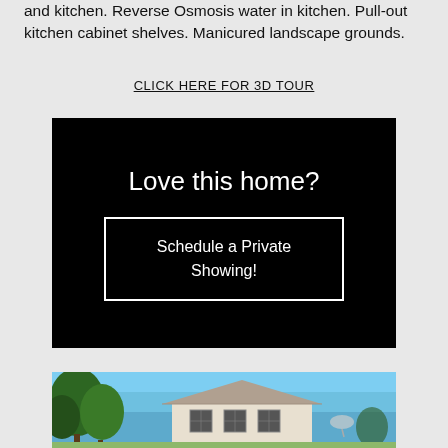and kitchen. Reverse Osmosis water in kitchen. Pull-out kitchen cabinet shelves. Manicured landscape grounds.
CLICK HERE FOR 3D TOUR
[Figure (infographic): Black background promotional box with 'Love this home?' heading and 'Schedule a Private Showing!' button with white border]
[Figure (photo): Exterior photo of a white stucco house with Spanish-style roof tiles under a blue sky, with green trees on the left side]